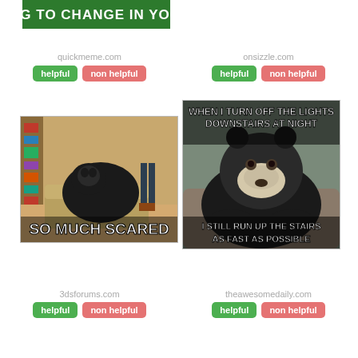[Figure (photo): Partial meme image at top with text 'NOTHING TO CHANGE IN YOUR LIFE' on green background]
quickmeme.com
helpful   non helpful
onsizzle.com
helpful   non helpful
[Figure (photo): Meme image of a shaggy black dog on a couch in a bookstore with text 'SO MUCH SCARED']
[Figure (photo): Meme image of a bear resting on a log with text 'WHEN I TURN OFF THE LIGHTS DOWNSTAIRS AT NIGHT' and 'I STILL RUN UP THE STAIRS AS FAST AS POSSIBLE']
3dsforums.com
helpful   non helpful
theawesomedaily.com
helpful   non helpful